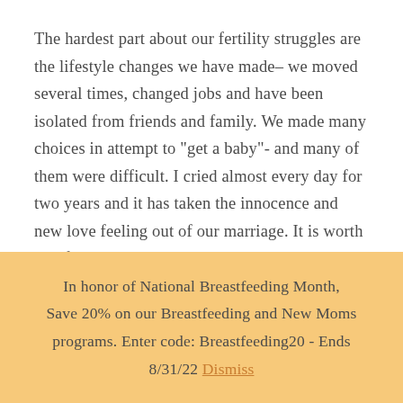The hardest part about our fertility struggles are the lifestyle changes we have made– we moved several times, changed jobs and have been isolated from friends and family. We made many choices in attempt to "get a baby"- and many of them were difficult. I cried almost every day for two years and it has taken the innocence and new love feeling out of our marriage. It is worth all of the work, time and
In honor of National Breastfeeding Month, Save 20% on our Breastfeeding and New Moms programs. Enter code: Breastfeeding20 - Ends 8/31/22 Dismiss